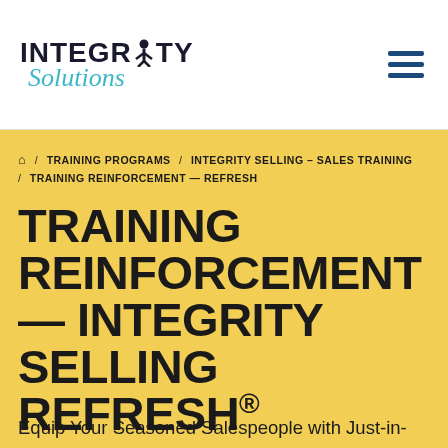[Figure (logo): Integrity Solutions logo with stylized person icon in text and cursive 'Solutions' below in teal]
[Figure (other): Hamburger menu icon with three horizontal dark blue lines]
🏠 / TRAINING PROGRAMS / INTEGRITY SELLING – SALES TRAINING / TRAINING REINFORCEMENT — REFRESH
TRAINING REINFORCEMENT — INTEGRITY SELLING REFRESH®
Equip Your Seasoned Salespeople with Just-in-